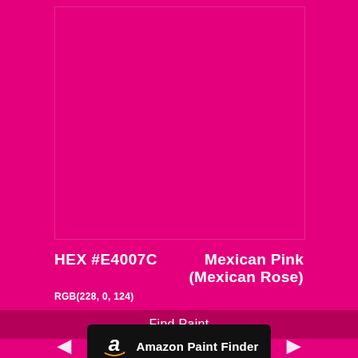[Figure (illustration): A solid magenta/hot pink color swatch filling a rectangular card area, representing the color Mexican Pink (Mexican Rose) with hex code #E4007C.]
HEX #E4007C
Mexican Pink (Mexican Rose)
RGB(228, 0, 124)
Find Paint
[Figure (logo): Amazon Paint Finder button — black rounded rectangle with Amazon 'a' logo and text 'Amazon Paint Finder' in white.]